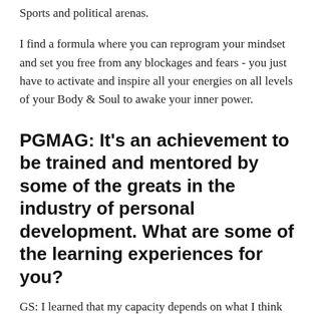Sports and political arenas.
I find a formula where you can reprogram your mindset and set you free from any blockages and fears - you just have to activate and inspire all your energies on all levels of your Body & Soul to awake your inner power.
PGMAG: It's an achievement to be trained and mentored by some of the greats in the industry of personal development. What are some of the learning experiences for you?
GS: I learned that my capacity depends on what I think of myself, and my world is created by how I manage situations through my personality. And also, I learned that my beliefs are what create my realities